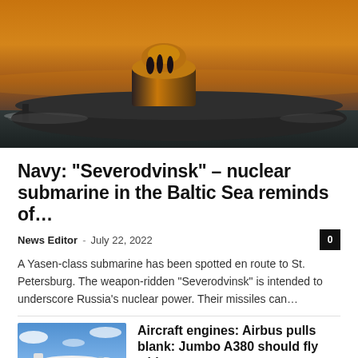[Figure (photo): A Yasen-class nuclear submarine photographed at sunset/dusk, with crew members visible on the conning tower. The submarine is partially surfaced in icy water. Warm orange and golden sky in the background.]
Navy: “Severodvinsk” – nuclear submarine in the Baltic Sea reminds of…
News Editor · July 22, 2022
A Yasen-class submarine has been spotted en route to St. Petersburg. The weapon-ridden “Severodvinsk” is intended to underscore Russia’s nuclear power. Their missiles can…
[Figure (photo): A large commercial aircraft (appears to be Airbus A380 or similar wide-body) flying against a blue sky with clouds.]
Aircraft engines: Airbus pulls blank: Jumbo A380 should fly with a…
July 22, 2022